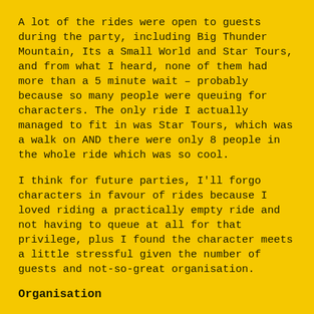A lot of the rides were open to guests during the party, including Big Thunder Mountain, Its a Small World and Star Tours, and from what I heard, none of them had more than a 5 minute wait – probably because so many people were queuing for characters. The only ride I actually managed to fit in was Star Tours, which was a walk on AND there were only 8 people in the whole ride which was so cool.
I think for future parties, I'll forgo characters in favour of rides because I loved riding a practically empty ride and not having to queue at all for that privilege, plus I found the character meets a little stressful given the number of guests and not-so-great organisation.
Organisation
I went into the party with a fairly open mind and no exact plan for anything that I really wanted to do, so I was fairly chilled for the most part, but there were some elements...